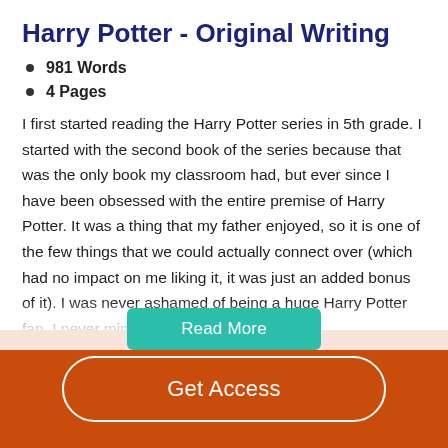Harry Potter - Original Writing
981 Words
4 Pages
I first started reading the Harry Potter series in 5th grade. I started with the second book of the series because that was the only book my classroom had, but ever since I have been obsessed with the entire premise of Harry Potter. It was a thing that my father enjoyed, so it is one of the few things that we could actually connect over (which had no impact on me liking it, it was just an added bonus of it). I was never ashamed of being a huge Harry Potter fan, I never minded the look people gave…
Read More
Get Access